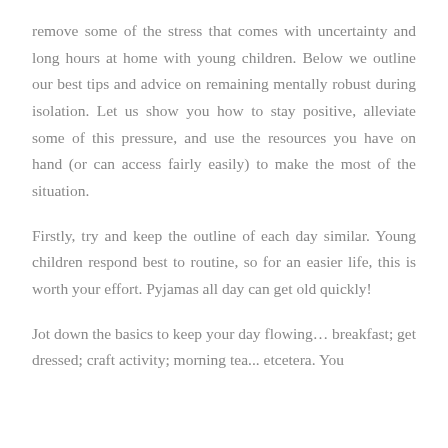remove some of the stress that comes with uncertainty and long hours at home with young children. Below we outline our best tips and advice on remaining mentally robust during isolation. Let us show you how to stay positive, alleviate some of this pressure, and use the resources you have on hand (or can access fairly easily) to make the most of the situation.
Firstly, try and keep the outline of each day similar. Young children respond best to routine, so for an easier life, this is worth your effort. Pyjamas all day can get old quickly!
Jot down the basics to keep your day flowing… breakfast; get dressed; craft activity; morning tea... etcetera. You